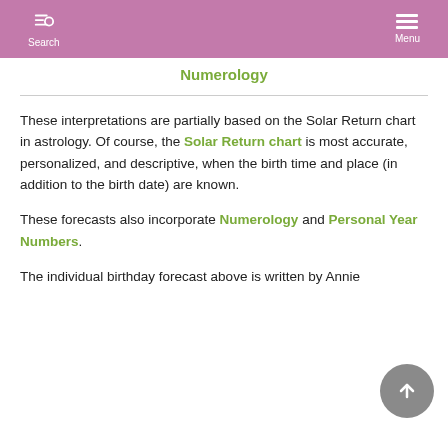Search  Menu
Numerology
These interpretations are partially based on the Solar Return chart in astrology. Of course, the Solar Return chart is most accurate, personalized, and descriptive, when the birth time and place (in addition to the birth date) are known.
These forecasts also incorporate Numerology and Personal Year Numbers.
The individual birthday forecast above is written by Annie